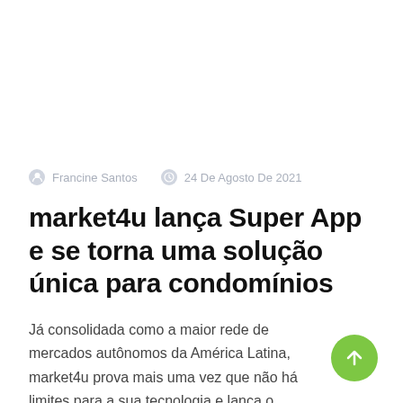Francine Santos  24 De Agosto De 2021
market4u lança Super App e se torna uma solução única para condomínios
Já consolidada como a maior rede de mercados autônomos da América Latina, market4u prova mais uma vez que não há limites para a sua tecnologia e lança o...